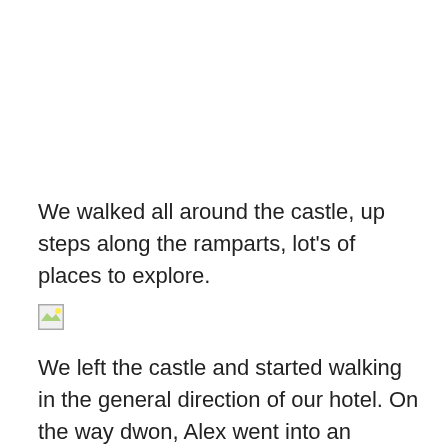We walked all around the castle, up steps along the ramparts, lot's of places to explore.
[Figure (photo): Broken/unloaded image placeholder (small icon with mountain and sun)]
We left the castle and started walking in the general direction of our hotel. On the way dwon, Alex went into an artisan's shop. She called me in and I was astonished. It had been a stable for horses and each display was in a stone water trough for the horses. This building predated the earthquake of 1756. They didn't really know it's age but the coat of arms over the door was dated around the 15th century. They were pretty sure that the coat of arms had been added to the building and was not part of the